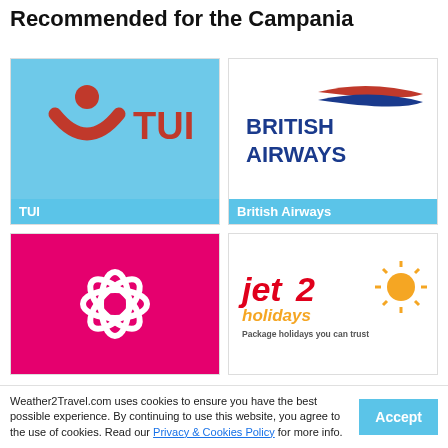Recommended for the Campania
[Figure (logo): TUI logo on light blue background with red smiley arc symbol and TUI text]
TUI
[Figure (logo): British Airways logo with navy blue text BRITISH AIRWAYS and red/blue swoosh graphic]
British Airways
[Figure (logo): White flower/asterisk logo on pink/magenta background]
[Figure (logo): Jet2holidays logo with red Jet2 text and orange holidays text, tagline Package holidays you can trust]
Weather2Travel.com uses cookies to ensure you have the best possible experience. By continuing to use this website, you agree to the use of cookies. Read our Privacy & Cookies Policy for more info.